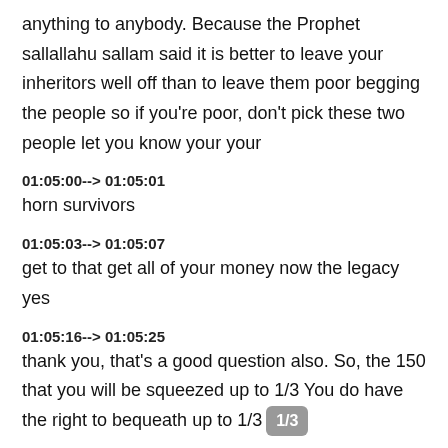anything to anybody. Because the Prophet sallallahu sallam said it is better to leave your inheritors well off than to leave them poor begging the people so if you're poor, don't pick these two people let you know your your
01:05:00--> 01:05:01
horn survivors
01:05:03--> 01:05:07
get to that get all of your money now the legacy yes
01:05:16--> 01:05:25
thank you, that's a good question also. So, the 150 that you will be squeezed up to 1/3 You do have the right to bequeath up to 1/3